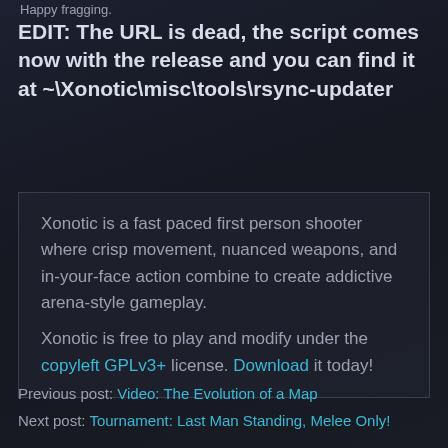Happy fragging.
EDIT: The URL is dead, the script comes now with the release and you can find it at ~\Xonotic\misc\tools\rsync-updater
Xonotic is a fast paced first person shooter where crisp movement, nuanced weapons, and in-your-face action combine to create addictive arena-style gameplay. Xonotic is free to play and modify under the copyleft GPLv3+ license. Download it today!
Previous post: Video: The Evolution of a Map
Next post: Tournament: Last Man Standing, Melee Only!